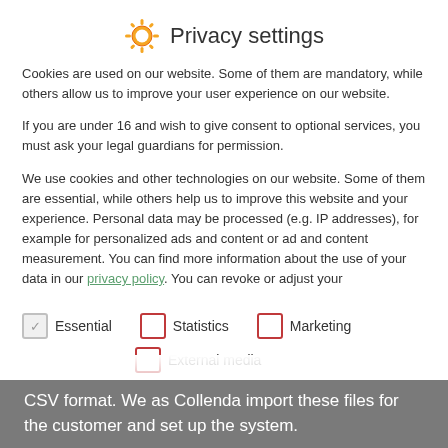Privacy settings
Cookies are used on our website. Some of them are mandatory, while others allow us to improve your user experience on our website.
If you are under 16 and wish to give consent to optional services, you must ask your legal guardians for permission.
We use cookies and other technologies on our website. Some of them are essential, while others help us to improve this website and your experience. Personal data may be processed (e.g. IP addresses), for example for personalized ads and content or ad and content measurement. You can find more information about the use of your data in our privacy policy. You can revoke or adjust your
Essential (checked)
Statistics (unchecked)
Marketing (unchecked)
External media (unchecked)
CSV format. We as Collenda import these files for the customer and set up the system.